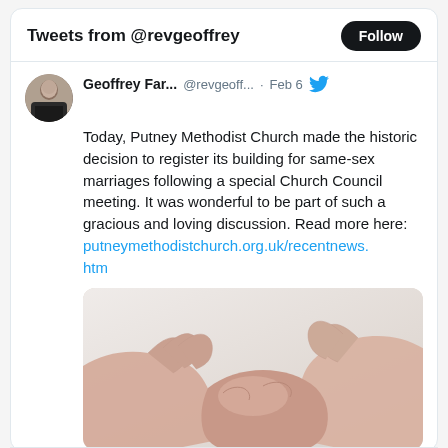Tweets from @revgeoffrey
Geoffrey Far... @revgeoff... · Feb 6
Today, Putney Methodist Church made the historic decision to register its building for same-sex marriages following a special Church Council meeting. It was wonderful to be part of such a gracious and loving discussion. Read more here: putneymethodistchurch.org.uk/recentnews.htm
[Figure (photo): Two hands clasped together, holding hands, shown against a light background — a photo of hands holding suggesting unity or partnership.]